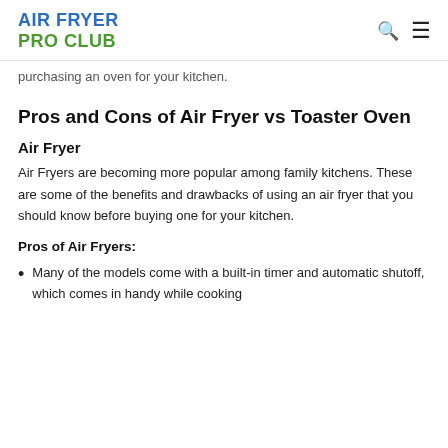AIR FRYER PRO CLUB
purchasing an oven for your kitchen.
Pros and Cons of Air Fryer vs Toaster Oven
Air Fryer
Air Fryers are becoming more popular among family kitchens. These are some of the benefits and drawbacks of using an air fryer that you should know before buying one for your kitchen.
Pros of Air Fryers:
Many of the models come with a built-in timer and automatic shutoff, which comes in handy while cooking